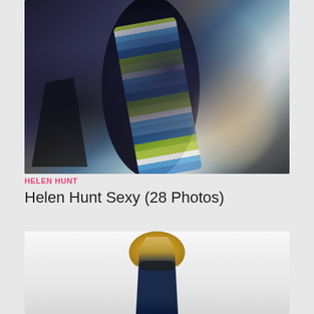[Figure (photo): Paparazzi photo of a person in a black swimsuit holding a colorful striped towel (blue, green, white stripes), with a stroller visible on the left and a blurred figure in the background on the right.]
HELEN HUNT
Helen Hunt Sexy (28 Photos)
[Figure (photo): Photo of a woman with long blonde hair wearing sunglasses and a dark bikini top, standing on a bright beach with a hazy light background.]